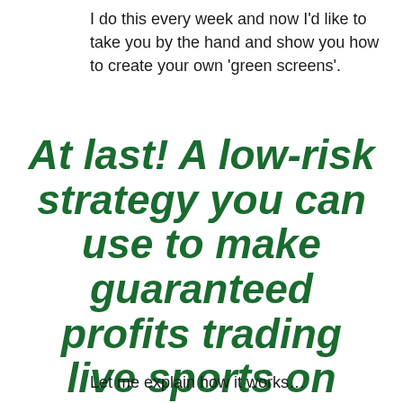I do this every week and now I'd like to take you by the hand and show you how to create your own 'green screens'.
At last! A low-risk strategy you can use to make guaranteed profits trading live sports on Betfair
Let me explain how it works…